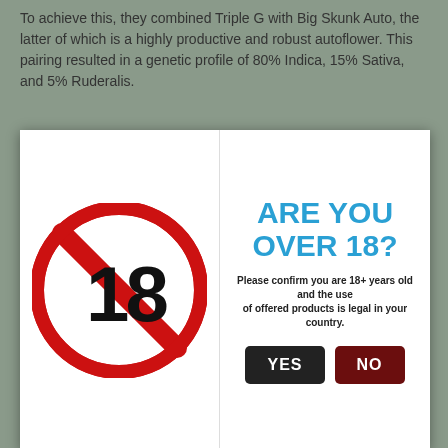To achieve this, they combined Triple G with Big Skunk Auto, the latter of which is a highly productive and robust autoflower. This pairing resulted in a genetic profile of 80% Indica, 15% Sativa, and 5% Ruderalis.
[Figure (infographic): Age verification modal overlay with a red 'no under 18' sign on the left and 'ARE YOU OVER 18?' text with YES/NO buttons on the right]
clicking "Allow Cookies", you consent to our use of cookies. Read more.
ALLOW COOKIES